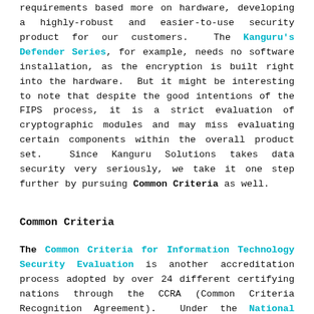requirements based more on hardware, developing a highly-robust and easier-to-use security product for our customers. The Kanguru's Defender Series, for example, needs no software installation, as the encryption is built right into the hardware. But it might be interesting to note that despite the good intentions of the FIPS process, it is a strict evaluation of cryptographic modules and may miss evaluating certain components within the overall product set. Since Kanguru Solutions takes data security very seriously, we take it one step further by pursuing Common Criteria as well.
Common Criteria
The Common Criteria for Information Technology Security Evaluation is another accreditation process adopted by over 24 different certifying nations through the CCRA (Common Criteria Recognition Agreement). Under the National Information